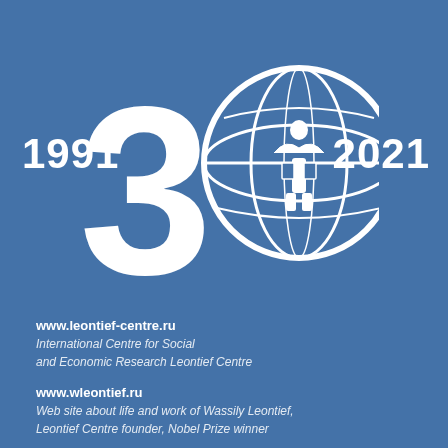[Figure (logo): Large white '30' numeral with a globe/Leontief Centre logo incorporated into the '0', anniversary logo for 1991-2021]
1991
2021
www.leontief-centre.ru
International Centre for Social and Economic Research Leontief Centre
www.wleontief.ru
Web site about life and work of Wassily Leontief, Leontief Centre founder, Nobel Prize winner